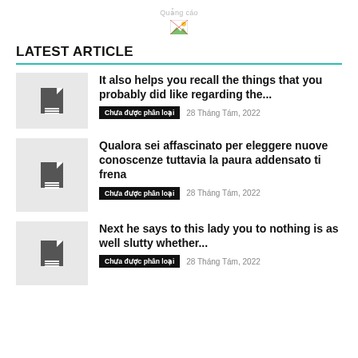Quảng cáo
[Figure (illustration): Small broken image placeholder icon]
LATEST ARTICLE
It also helps you recall the things that you probably did like regarding the... | Chưa được phân loại | 28 Tháng Tám, 2022
Qualora sei affascinato per eleggere nuove conoscenze tuttavia la paura addensato ti frena | Chưa được phân loại | 28 Tháng Tám, 2022
Next he says to this lady you to nothing is as well slutty whether... | Chưa được phân loại | 28 Tháng Tám, 2022